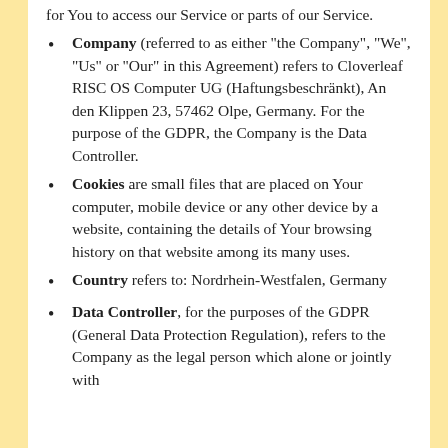for You to access our Service or parts of our Service.
Company (referred to as either "the Company", "We", "Us" or "Our" in this Agreement) refers to Cloverleaf RISC OS Computer UG (Haftungsbeschränkt), An den Klippen 23, 57462 Olpe, Germany. For the purpose of the GDPR, the Company is the Data Controller.
Cookies are small files that are placed on Your computer, mobile device or any other device by a website, containing the details of Your browsing history on that website among its many uses.
Country refers to: Nordrhein-Westfalen, Germany
Data Controller, for the purposes of the GDPR (General Data Protection Regulation), refers to the Company as the legal person which alone or jointly with